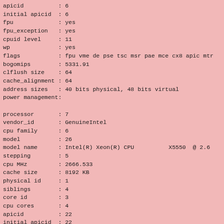apicid          : 6
initial apicid  : 6
fpu             : yes
fpu_exception   : yes
cpuid level     : 11
wp              : yes
flags           : fpu vme de pse tsc msr pae mce cx8 apic mtr
bogomips        : 5331.91
clflush size    : 64
cache_alignment : 64
address sizes   : 40 bits physical, 48 bits virtual
power management:

processor       : 7
vendor_id       : GenuineIntel
cpu family      : 6
model           : 26
model name      : Intel(R) Xeon(R) CPU          X5550  @ 2.6
stepping        : 5
cpu MHz         : 2666.533
cache size      : 8192 KB
physical id     : 1
siblings        : 4
core id         : 3
cpu cores       : 4
apicid          : 22
initial apicid  : 22
fpu             : yes
fpu_exception   : yes
cpuid level     : 11
wp              : yes
flags           : fpu vme de pse tsc msr pae mce cx8 apic mtr
bogomips        : 5331.91